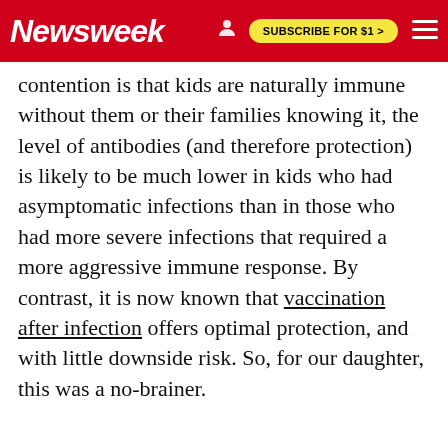Newsweek | SUBSCRIBE FOR $1 >
contention is that kids are naturally immune without them or their families knowing it, the level of antibodies (and therefore protection) is likely to be much lower in kids who had asymptomatic infections than in those who had more severe infections that required a more aggressive immune response. By contrast, it is now known that vaccination after infection offers optimal protection, and with little downside risk. So, for our daughter, this was a no-brainer.